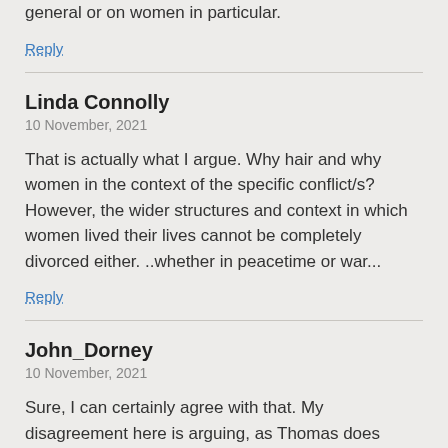general or on women in particular.
Reply
Linda Connolly
10 November, 2021
That is actually what I argue. Why hair and why women in the context of the specific conflict/s? However, the wider structures and context in which women lived their lives cannot be completely divorced either. ..whether in peacetime or war...
Reply
John_Dorney
10 November, 2021
Sure, I can certainly agree with that. My disagreement here is arguing, as Thomas does above, that hair cutting was part of conscious, conservative social/political agenda applied by the early 1920s